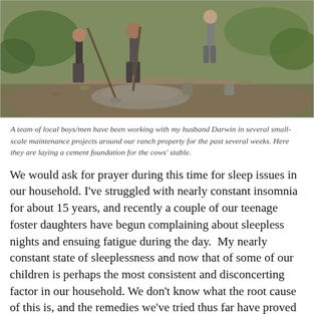[Figure (photo): A team of local boys/men working outdoors, mixing or spreading cement on the ground using shovels, with buckets nearby and green vegetation in the background.]
A team of local boys/men have been working with my husband Darwin in several small-scale maintenance projects around our ranch property for the past several weeks. Here they are laying a cement foundation for the cows' stable.
We would ask for prayer during this time for sleep issues in our household. I've struggled with nearly constant insomnia for about 15 years, and recently a couple of our teenage foster daughters have begun complaining about sleepless nights and ensuing fatigue during the day.  My nearly constant state of sleeplessness and now that of some of our children is perhaps the most consistent and disconcerting factor in our household. We don't know what the root cause of this is, and the remedies we've tried thus far have proved ineffective, so we simply ask for prayer in this respect for our family. Under such circumstances it is easy to feel discouraged, but shifts